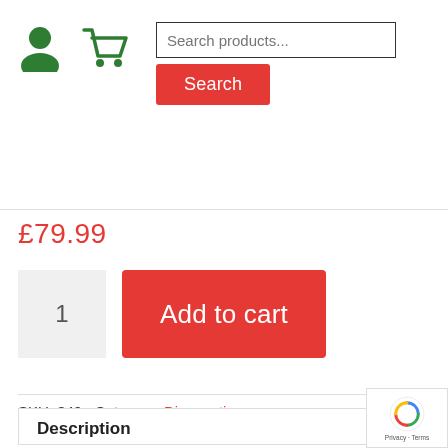[Figure (screenshot): E-commerce product page screenshot showing navigation icons (user and cart in green), a search input field with placeholder 'Search products...' and a red Search button below it.]
£79.99
1  Add to cart
SKU: 349  Category: Diagnostic
Description
Description